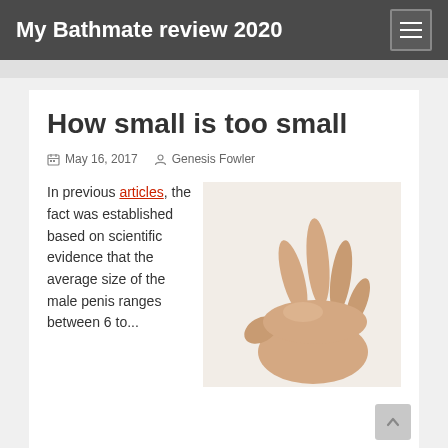My Bathmate review 2020
How small is too small
May 16, 2017   Genesis Fowler
In previous articles, the fact was established based on scientific evidence that the average size of the male penis ranges between 6 to...
[Figure (photo): A hand with fingers held close together suggesting a small size, on white background]